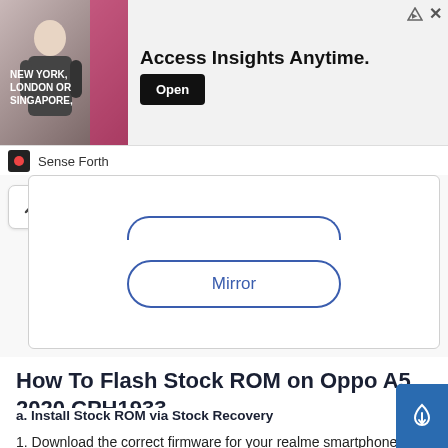[Figure (screenshot): Advertisement banner: photo of a person with text 'NEW YORK, LONDON OR SINGAPORE,' alongside bold text 'Access Insights Anytime.' and an 'Open' button. Brand logo and 'Sense Forth' label below.]
[Figure (screenshot): UI element showing a chevron-up arrow button, a partial pill-shaped outline at top, and a full pill-shaped 'Mirror' button inside a bordered box.]
How To Flash Stock ROM on Oppo A5 2020 CPH1933
a. Install Stock ROM via Stock Recovery
1. Download the correct firmware for your realme smartphone